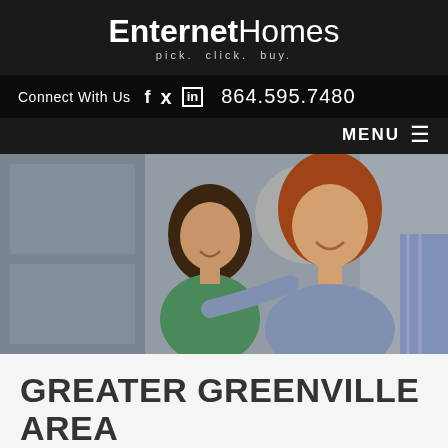EnternetHomes — pick. click. buy. — Connect With Us — 864.595.7480 — MENU
[Figure (photo): A smiling woman with auburn hair and a young girl with dark hair posing together in front of a house door, with a man partially visible on the right side.]
GREATER GREENVILLE AREA INFORMATION